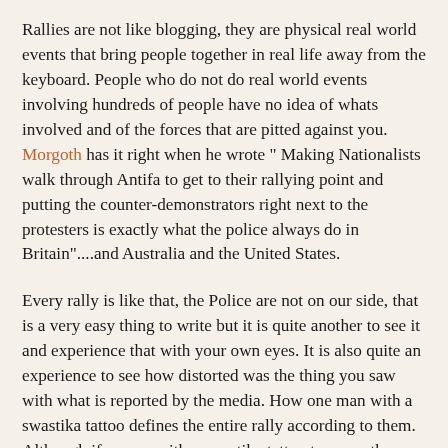Rallies are not like blogging, they are physical real world events that bring people together in real life away from the keyboard. People who do not do real world events involving hundreds of people have no idea of whats involved and of the forces that are pitted against you. Morgoth has it right when he wrote " Making Nationalists walk through Antifa to get to their rallying point and putting the counter-demonstrators right next to the protesters is exactly what the police always do in Britain"....and Australia and the United States.
Every rally is like that, the Police are not on our side, that is a very easy thing to write but it is quite another to see it and experience that with your own eyes. It is also quite an experience to see how distorted was the thing you saw with what is reported by the media. How one man with a swastika tattoo defines the entire rally according to them. Although if no one with a swastika tattoo turns up then they film the worst dressed man all day and portray him as the entire rally.
All violence at rallies are caused by the police, because if you don't want two groups to fight then you keep them apart. Police know this, they have been controlling crowds for a long time, why is it